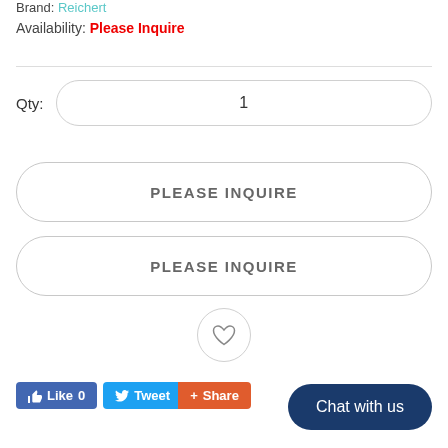Brand: Reichert
Availability: Please Inquire
Qty: 1
PLEASE INQUIRE
PLEASE INQUIRE
[Figure (illustration): Wishlist heart icon button]
Like 0  Tweet  Share
Chat with us